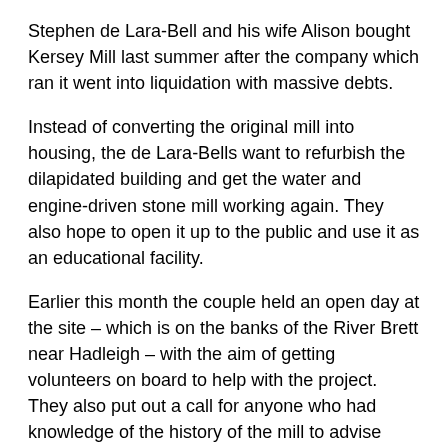Stephen de Lara-Bell and his wife Alison bought Kersey Mill last summer after the company which ran it went into liquidation with massive debts.
Instead of converting the original mill into housing, the de Lara-Bells want to refurbish the dilapidated building and get the water and engine-driven stone mill working again. They also hope to open it up to the public and use it as an educational facility.
Earlier this month the couple held an open day at the site – which is on the banks of the River Brett near Hadleigh – with the aim of getting volunteers on board to help with the project. They also put out a call for anyone who had knowledge of the history of the mill to advise them on the restoration work.
To their surprise, Mrs de Lara-Bell said more than 100 people had turned out to offer their support, including